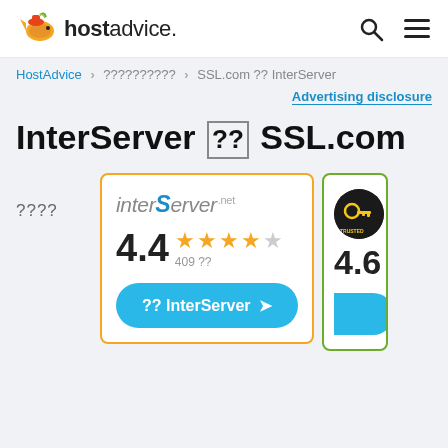hostadvice. [search icon] [menu icon]
HostAdvice > ?????????? > SSL.com ?? InterServer
Advertising disclosure
InterServer ?? SSL.com
????
[Figure (screenshot): InterServer.net hosting card with 4.4 star rating (409 reviews) and a blue 'Visit InterServer' button, bordered in orange]
[Figure (screenshot): Partial SSL.com card with green border showing 4.6 rating and partial blue button]